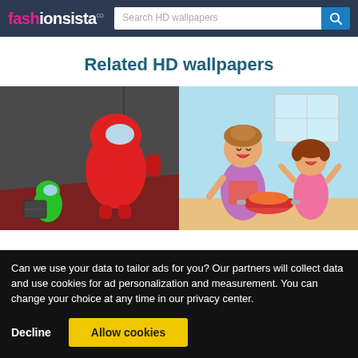fashionsista.co — Search HD wallpapers
Related HD wallpapers
[Figure (illustration): Among Us game scene: large red crewmate character and small green crewmate on dark red/grey room floor]
[Figure (illustration): Cartoon illustration of a mother and daughter cooking together in a kitchen, both smiling]
Can we use your data to tailor ads for you? Our partners will collect data and use cookies for ad personalization and measurement. You can change your choice at any time in our privacy center.
Decline
Allow cookies